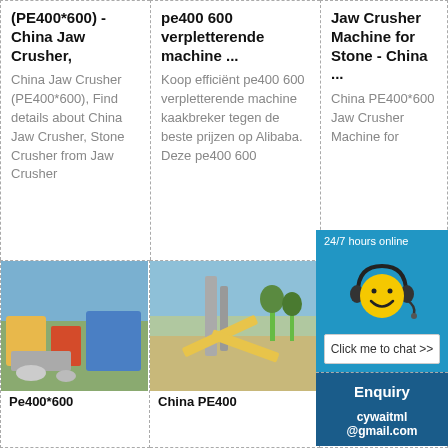(PE400*600) - China Jaw Crusher,
China Jaw Crusher (PE400*600), Find details about China Jaw Crusher, Stone Crusher from Jaw Crusher
pe400 600 verpletterende machine ...
Koop efficiënt pe400 600 verpletterende machine kaakbreker tegen de beste prijzen op Alibaba. Deze pe400 600
Jaw Crusher Machine for Stone - China ...
China PE400*600 Jaw Crusher Machine for
[Figure (screenshot): Chat widget showing 24/7 hours online with smiley face wearing headset, Click me to chat >> button, Enquiry section, and cywaitml@gmail.com]
[Figure (photo): Outdoor photo of jaw crusher machinery with stones and equipment]
[Figure (photo): Outdoor photo of large industrial crushing plant with yellow machinery]
Pe400*600
China PE400